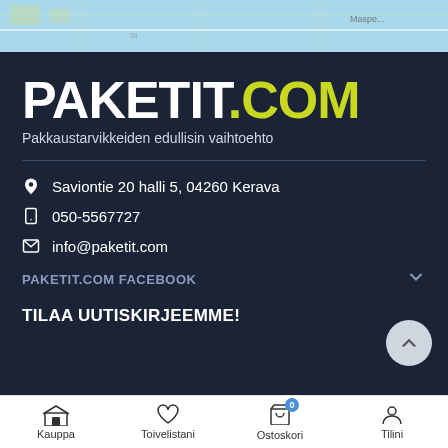[Figure (screenshot): Map strip at top of page showing a partial street map with blue background]
PAKETIT.COM
Pakkaustarvikkeiden edullisin vaihtoehto
Saviontie 20 halli 5, 04260 Kerava
050-5567727
info@paketit.com
PAKETIT.COM FACEBOOK
TILAA UUTISKIRJEEMME!
Kauppa  Toivelistani  Ostoskori  Tilini